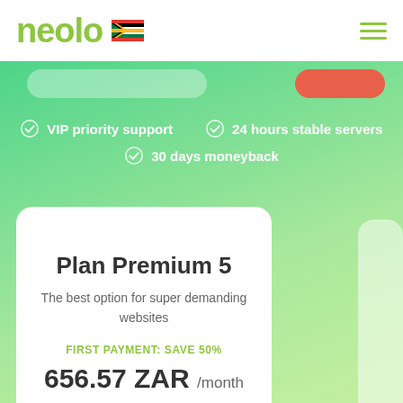neolo
VIP priority support
24 hours stable servers
30 days moneyback
Plan Premium 5
The best option for super demanding websites
FIRST PAYMENT: SAVE 50%
656.57 ZAR /month